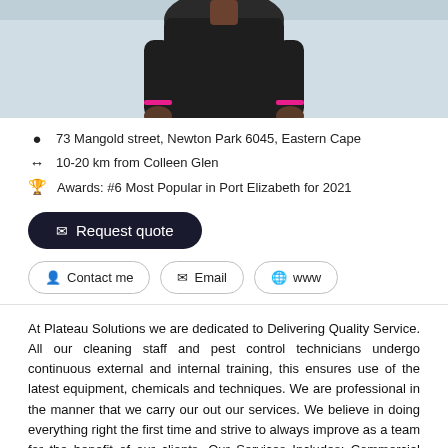[Figure (photo): Photo of a person wearing dark clothing, cropped at torso/shoulders level, against a light background]
73 Mangold street, Newton Park 6045, Eastern Cape
10-20 km from Colleen Glen
Awards: #6 Most Popular in Port Elizabeth for 2021
✉ Request quote
👤 Contact me  ✉ Email  🌐 www
At Plateau Solutions we are dedicated to Delivering Quality Service. All our cleaning staff and pest control technicians undergo continuous external and internal training, this ensures use of the latest equipment, chemicals and techniques. We are professional in the manner that we carry our out our services. We believe in doing everything right the first time and strive to always improve as a team for the benefit of our clients. Our Services Includes: Commercial Cleaning Pest Control Pre and...
Read more